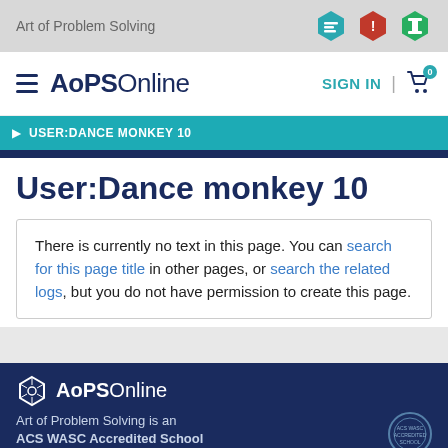Art of Problem Solving
AoPS Online  SIGN IN  0
USER:DANCE MONKEY 10
User:Dance monkey 10
There is currently no text in this page. You can search for this page title in other pages, or search the related logs, but you do not have permission to create this page.
AoPS Online — Art of Problem Solving is an ACS WASC Accredited School